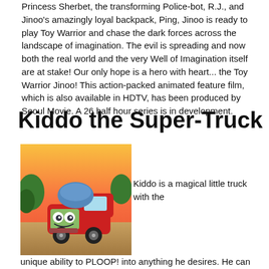Princess Sherbet, the transforming Police-bot, R.J., and Jinoo's amazingly loyal backpack, Ping, Jinoo is ready to play Toy Warrior and chase the dark forces across the landscape of imagination. The evil is spreading and now both the real world and the very Well of Imagination itself are at stake! Our only hope is a hero with heart... the Toy Warrior Jinoo! This action-packed animated feature film, which is also available in HDTV, has been produced by Seoul Movie. A 26 half hour series is in development.
Kiddo the Super-Truck
[Figure (photo): Animated red truck character with a blue helmet, large expressive eyes, smiling face, set against a warm sunset background with trees.]
Kiddo is a magical little truck with the unique ability to PLOOP! into anything he desires. He can become a car, a boat, a train or a plane, as necessary, to help all of his wonderful friends in Sunnyside, the most magical place on Earth. Comprised of five individual episodes, this feature has been called